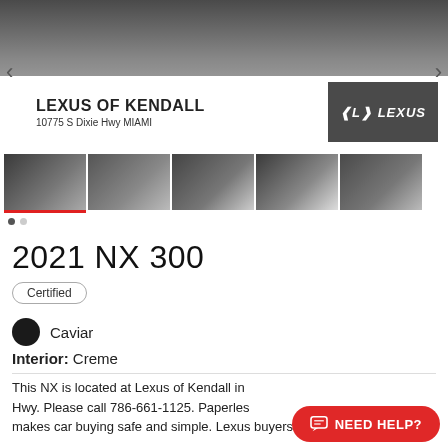[Figure (photo): Main image of a black Lexus NX 300 SUV at Lexus of Kendall dealership, with dealer banner showing 'LEXUS OF KENDALL 10775 S Dixie Hwy MIAMI' and Lexus logo, navigation arrows on sides]
[Figure (photo): Thumbnail gallery row of 5 images showing different views of the black Lexus NX 300]
2021 NX 300
Certified
Caviar
Interior: Creme
This NX is located at Lexus of Kendall in Hwy. Please call 786-661-1125. Paperless makes car buying safe and simple. Lexus buyers in Miami ... more